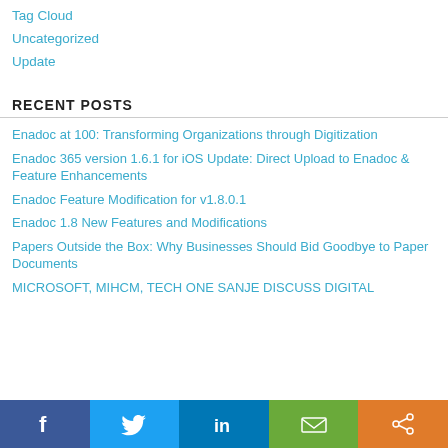Tag Cloud
Uncategorized
Update
RECENT POSTS
Enadoc at 100: Transforming Organizations through Digitization
Enadoc 365 version 1.6.1 for iOS Update: Direct Upload to Enadoc & Feature Enhancements
Enadoc Feature Modification for v1.8.0.1
Enadoc 1.8 New Features and Modifications
Papers Outside the Box: Why Businesses Should Bid Goodbye to Paper Documents
MICROSOFT, MIHCM, TECH ONE SANJE DISCUSS DIGITAL
[Figure (infographic): Social sharing bar with Facebook, Twitter, LinkedIn, Email, and Share buttons]